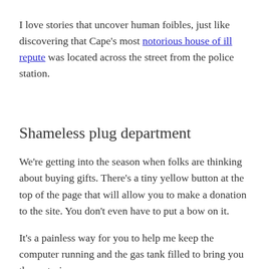I love stories that uncover human foibles, just like discovering that Cape's most notorious house of ill repute was located across the street from the police station.
Shameless plug department
We're getting into the season when folks are thinking about buying gifts. There's a tiny yellow button at the top of the page that will allow you to make a donation to the site. You don't even have to put a bow on it.
It's a painless way for you to help me keep the computer running and the gas tank filled to bring you these stories.